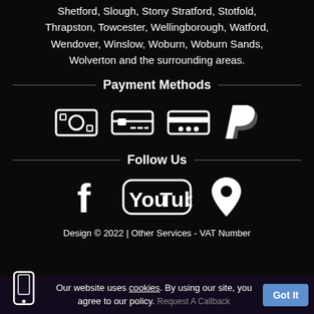Shetford, Slough, Stony Stratford, Stotfold, Thrapston, Towcester, Wellingborough, Watford, Wendover, Winslow, Woburn, Woburn Sands, Wolverton and the surrounding areas.
Payment Methods
[Figure (infographic): Four payment method icons: cash/money icon, credit card icon, debit card icon, PayPal icon]
Follow Us
[Figure (infographic): Three social media icons: Facebook 'f' logo, YouTube logo with 'You Tube' text, map pin / location icon]
Design © 2022 | Other Services - VAT Number
Our website uses cookies. By using our site, you agree to our policy.
Request A Callback
Got It